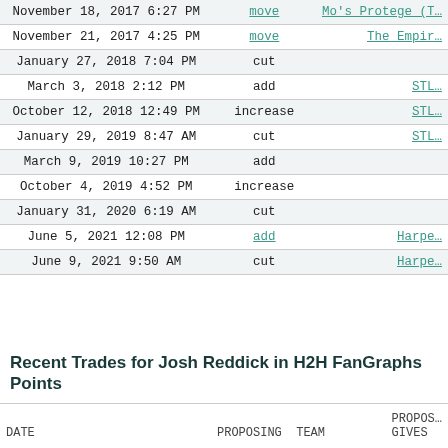| DATE | ACTION | TEAM |
| --- | --- | --- |
| November 18, 2017 6:27 PM | move | Mo's Protege (T… |
| November 21, 2017 4:25 PM | move | The Empir… |
| January 27, 2018 7:04 PM | cut |  |
| March 3, 2018 2:12 PM | add | STL… |
| October 12, 2018 12:49 PM | increase | STL… |
| January 29, 2019 8:47 AM | cut | STL… |
| March 9, 2019 10:27 PM | add |  |
| October 4, 2019 4:52 PM | increase |  |
| January 31, 2020 6:19 AM | cut |  |
| June 5, 2021 12:08 PM | add | Harpe… |
| June 9, 2021 9:50 AM | cut | Harpe… |
Recent Trades for Josh Reddick in H2H FanGraphs Points
| DATE | PROPOSING TEAM | PROPOSING TEAM GIVES |
| --- | --- | --- |
| May 12, 2018 11:26 PM | Bobby Hitt Jr | Jos… ARI… |